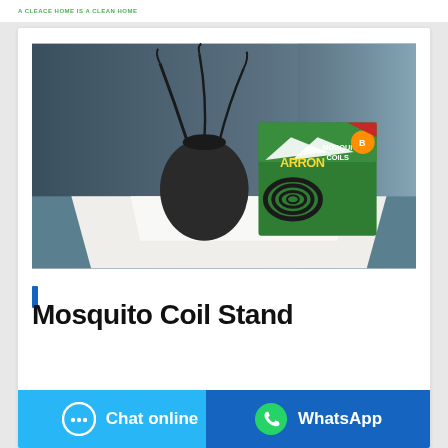A CLEACE HOME IS A CLEAN HOME
[Figure (photo): Product photo of Arrow Mosquito Coils box displayed on white cloth with a dark vase and dried plant in the background on a blue-grey surface.]
Mosquito Coil Stand
Chat online
WhatsApp